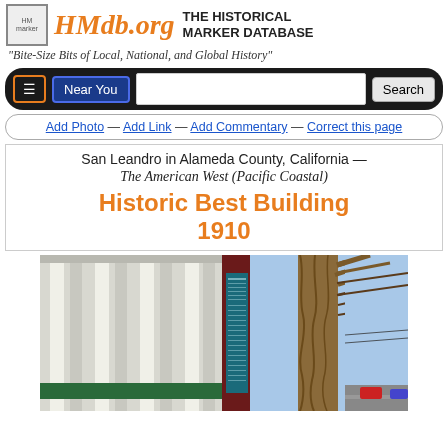HMdb.org THE HISTORICAL MARKER DATABASE
"Bite-Size Bits of Local, National, and Global History"
[Figure (screenshot): Navigation bar with menu button, Near You button, search input, and Search button on dark rounded background]
Add Photo — Add Link — Add Commentary — Correct this page
San Leandro in Alameda County, California — The American West (Pacific Coastal)
Historic Best Building 1910
[Figure (photo): Photo of the historic Best Building in San Leandro, showing a white columned facade on the left and a teal/blue historical marker sign next to a large bare tree trunk on the right, with blue sky in background]